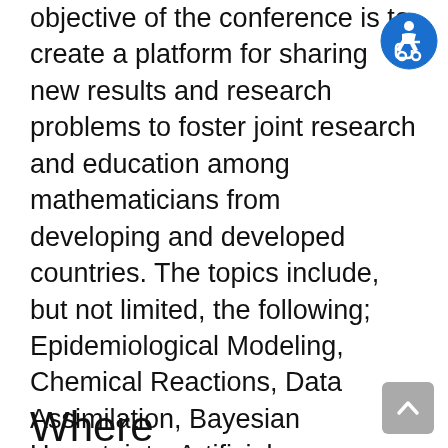objective of the conference is to create a platform for sharing new results and research problems to foster joint research and education among mathematicians from developing and developed countries. The topics include, but not limited, the following; Epidemiological Modeling, Chemical Reactions, Data Assimilation, Bayesian Uncertainty, Artificial Intelligence, Machine Learning, Financial Mathematics, Stochastic Processes, and Atmospheric and Ionospheric Models.
[Figure (illustration): Accessibility icon: blue circle with white wheelchair user symbol]
Where
[Figure (illustration): Grey rounded square scroll-to-top button with upward chevron arrow]